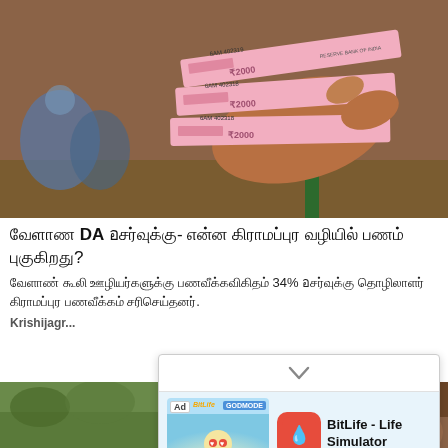[Figure (photo): A hand holding multiple pink Indian rupee 2000 notes, showing Reserve Bank of India currency with Gandhi portrait and serial numbers like 6AM 402319 and 6AM 402318]
வேளாண் DA உயர்வுக்கு- என்ன கிராமப்புற வழியில் பணம் புகுகிறது?
வேளாண் கூலி ஊழியர்களுக்கு பணவீக்கவிகிதம் 34% உயர்வுக்கு தொழிலாளர் கிராமப்புற பணவீக்கம் சரிசெய்தனர்.
Krishijagr...
[Figure (screenshot): Advertisement overlay for BitLife - Life Simulator app. Shows a cartoon Buddha-like character with sunglasses, 'GOD MODE' badge, BitLife app icon (red with sperm symbol), and 'Install!' call to action button.]
[Figure (photo): Thumbnail image on the left showing green grass or plants]
[Figure (photo): Thumbnail image on the right showing brown/earth tones, possibly a hand or soil]